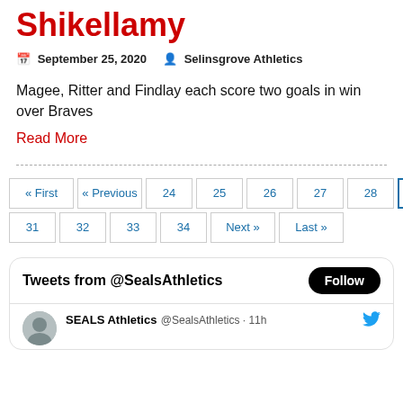Shikellamy
September 25, 2020   Selinsgrove Athletics
Magee, Ritter and Findlay each score two goals in win over Braves
Read More
« First  « Previous  24  25  26  27  28  29  30  31  32  33  34  Next »  Last »
[Figure (screenshot): Twitter widget showing Tweets from @SealsAthletics with a Follow button and a tweet from SEALS Athletics @SealsAthletics · 11h]